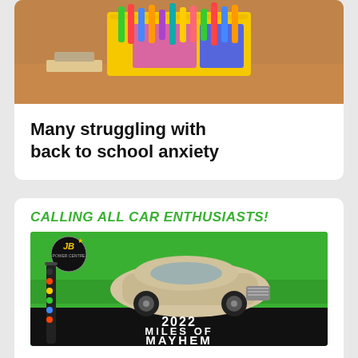[Figure (photo): Photo of a yellow bin/tray filled with colorful markers and art supplies on a classroom table]
Many struggling with back to school anxiety
CALLING ALL CAR ENTHUSIASTS!
[Figure (photo): Advertisement image for JB's Power Centre 2022 Miles of Mayhem car event on green background with classic car]
Classic cars featured in